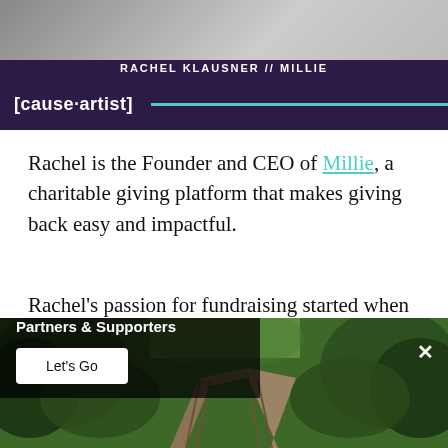[Figure (photo): Header banner with dark purple background. Top portion shows a grey-toned photograph. Text reads 'RACHEL KLAUSNER // MILLIE' in white capital letters. Below is the Cause Artist logo with a teal horizontal line extending to the right.]
Rachel is the Founder and CEO of Millie, a charitable giving platform that makes giving back easy and impactful.
Rachel’s passion for fundraising started when she spent a year after high school living and volunteering on a youth village where she took on a fundraising role during the day and ran
[Figure (photo): Forest scene with wooden bridge/walkway extending into lush green trees. Overlaid with a popup banner reading 'Check out our Causeartist Partners & Supporters' with a 'Let's Go' button and an X close button.]